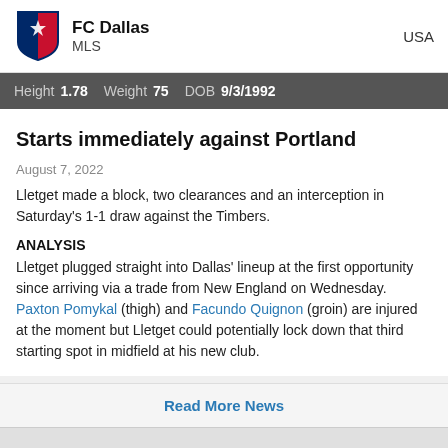FC Dallas MLS USA
Height 1.78   Weight 75   DOB 9/3/1992
Starts immediately against Portland
August 7, 2022
Lletget made a block, two clearances and an interception in Saturday's 1-1 draw against the Timbers.
ANALYSIS
Lletget plugged straight into Dallas' lineup at the first opportunity since arriving via a trade from New England on Wednesday. Paxton Pomykal (thigh) and Facundo Quignon (groin) are injured at the moment but Lletget could potentially lock down that third starting spot in midfield at his new club.
Read More News